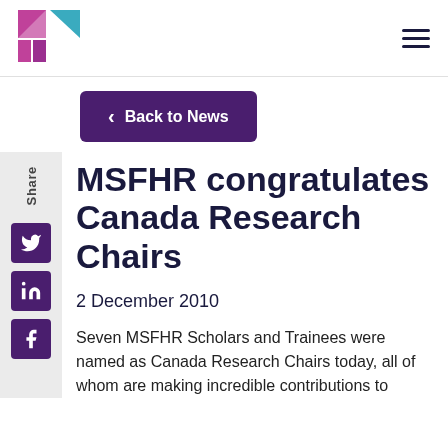[Figure (logo): MSFHR logo: stylized squares in pink/purple and teal]
MSFHR congratulates Canada Research Chairs
2 December 2010
Seven MSFHR Scholars and Trainees were named as Canada Research Chairs today, all of whom are making incredible contributions to